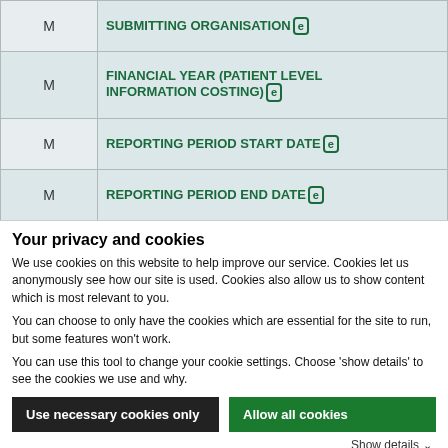|  |  |
| --- | --- |
| M | SUBMITTING ORGANISATION (e) |
| M | FINANCIAL YEAR (PATIENT LEVEL INFORMATION COSTING) (e) |
| M | REPORTING PERIOD START DATE (e) |
| M | REPORTING PERIOD END DATE (e) |
| M | DATE AND TIME DATA SET CREATED (e) |
Your privacy and cookies
We use cookies on this website to help improve our service. Cookies let us anonymously see how our site is used. Cookies also allow us to show content which is most relevant to you.
You can choose to only have the cookies which are essential for the site to run, but some features won't work.
You can use this tool to change your cookie settings. Choose 'show details' to see the cookies we use and why.
Use necessary cookies only | Allow all cookies | Show details